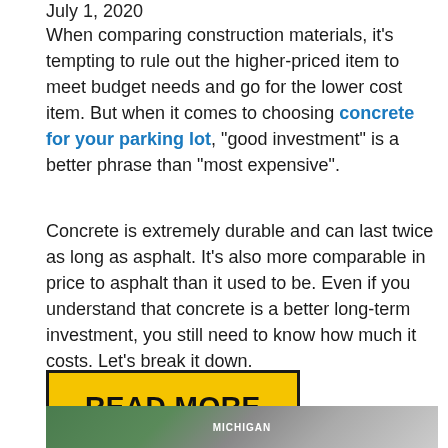July 1, 2020
When comparing construction materials, it’s tempting to rule out the higher-priced item to meet budget needs and go for the lower cost item. But when it comes to choosing concrete for your parking lot, “good investment” is a better phrase than “most expensive”.
Concrete is extremely durable and can last twice as long as asphalt. It’s also more comparable in price to asphalt than it used to be. Even if you understand that concrete is a better long-term investment, you still need to know how much it costs. Let’s break it down.
READ MORE
[Figure (photo): Exterior photo of Michigan building with parking lot, showing a commercial structure with trees in the background]